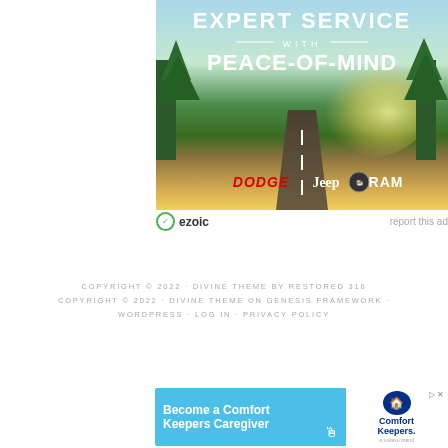[Figure (advertisement): Chrysler/Dodge/Jeep/RAM dealership ad with road scene. Text: EXPERT SERVICE WITH PEACE-OF-MIND. Logos: Chrysler, Dodge, Jeep, RAM. Ezoic ad attribution. 'report this ad' link.]
COPYRIGHT © 2022 · DIVINE THEME BY RESTORED 316
COPYRIGHT © 2022 · DIVINE THEME ON GENESIS FRAMEWORK · WORDPRESS · LOG IN · PRIVACY POLICY
[Figure (advertisement): Comfort Keepers Caregiver recruitment ad. Orange background with blue section. Text: Become a Comfort Keepers Caregiver. Comfort Keepers logo on right.]